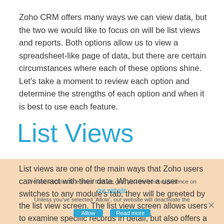Zoho CRM offers many ways we can view data, but the two we would like to focus on will be list views and reports. Both options allow us to view a spreadsheet-like page of data, but there are certain circumstances where each of these options shine. Let's take a moment to review each option and determine the strengths of each option and when it is best to use each feature.
List Views
List views are one of the main ways that Zoho users can interact with their data. Whenever a user switches to any module's tab, they will be greeted by the list view screen. The list view screen allows users to examine specific records in detail, but also offers a quick overview of record groupings.